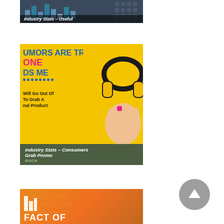[Figure (screenshot): Thumbnail image showing a dark blue bar chart / table with multiple colored bars, partially visible. Overlaid with a dark semi-transparent label area at the bottom.]
Industry Stats – Useful
[Figure (infographic): Yellow-background infographic about consumer behavior with headphone imagery. Partial text visible: 'UMORS ARE TRUE...', 'ONE', 'DS ME', with dotted line decoration, 'Will Go Out Of', 'To Grab A', 'nal Product'. Person holding yellow headphones with pink nails visible on right side.]
Industry Stats – Consumers Grab Promo
[Figure (infographic): Orange gradient infographic with mathematical symbols/icons pattern in background. Large white bold text at bottom beginning 'FACT OF' (partially visible). Small orange building/chart icon on left side.]
[Figure (other): Grey circular scroll-to-top button with upward-pointing chevron/arrow in white, positioned in lower right area of page.]